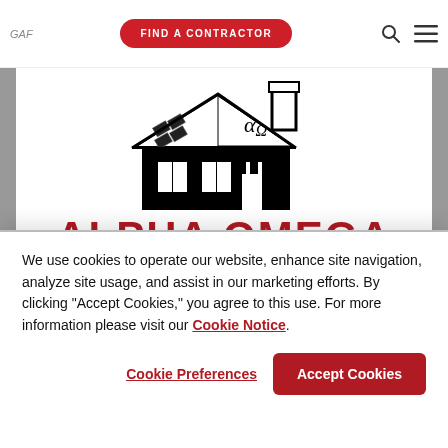GAF logo | FIND A CONTRACTOR | search icon | menu icon
[Figure (logo): Alpha Omega Construction Group Inc. logo: black outline of a house with solar panels and alpha-omega symbol on the roof, with a chimney on the right]
ALPHA OMEGA
CONSTRUCTION GROUP, INC.
We use cookies to operate our website, enhance site navigation, analyze site usage, and assist in our marketing efforts. By clicking "Accept Cookies," you agree to this use. For more information please visit our Cookie Notice.
Cookie Preferences | Accept Cookies